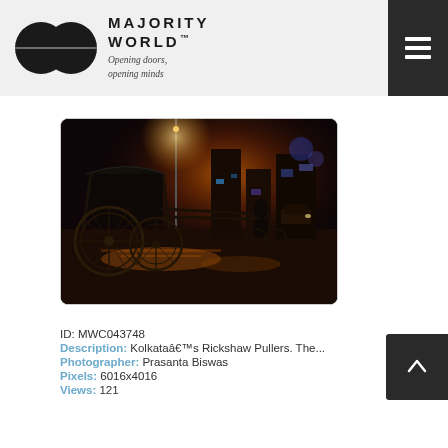MAJORITY WORLD™ — Opening doors, opening minds
[Figure (photo): Nighttime street scene in Kolkata showing a hand-pulled rickshaw in the foreground with wet reflective streets, orange street light glow, and a rickshaw puller visible in the background crossing a busy intersection.]
ID: MWC043748
Description: Kolkataâs Rickshaw Pullers. The...
Photographer: Prasanta Biswas
Pixels: 6016x4016
Views: 121